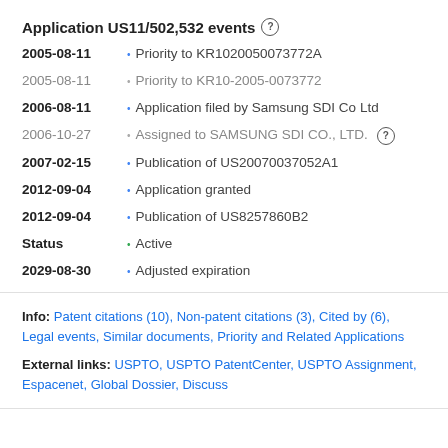Application US11/502,532 events
2005-08-11 • Priority to KR1020050073772A
2005-08-11 • Priority to KR10-2005-0073772
2006-08-11 • Application filed by Samsung SDI Co Ltd
2006-10-27 • Assigned to SAMSUNG SDI CO., LTD.
2007-02-15 • Publication of US20070037052A1
2012-09-04 • Application granted
2012-09-04 • Publication of US8257860B2
Status • Active
2029-08-30 • Adjusted expiration
Info: Patent citations (10), Non-patent citations (3), Cited by (6), Legal events, Similar documents, Priority and Related Applications
External links: USPTO, USPTO PatentCenter, USPTO Assignment, Espacenet, Global Dossier, Discuss